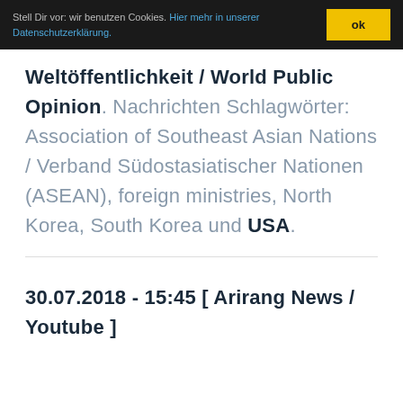Stell Dir vor: wir benutzen Cookies. Hier mehr in unserer Datenschutzerklärung. ok
Weltöffentlichkeit / World Public Opinion. Nachrichten Schlagwörter: Association of Southeast Asian Nations / Verband Südostasiatischer Nationen (ASEAN), foreign ministries, North Korea, South Korea und USA.
30.07.2018 - 15:45 [ Arirang News / Youtube ]